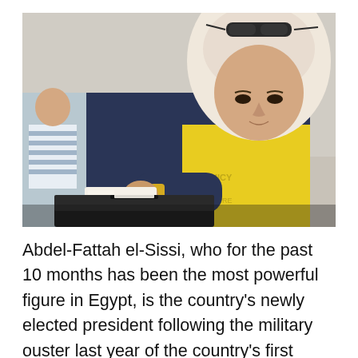[Figure (photo): A woman wearing a white lace hijab and navy blue jacket casting a ballot into a black ballot box. She wears a gold bracelet and holds a voting card. Another person is partially visible in the background.]
Abdel-Fattah el-Sissi, who for the past 10 months has been the most powerful figure in Egypt, is the country's newly elected president following the military ouster last year of the country's first democratically elected leader, Islamist Mohamed